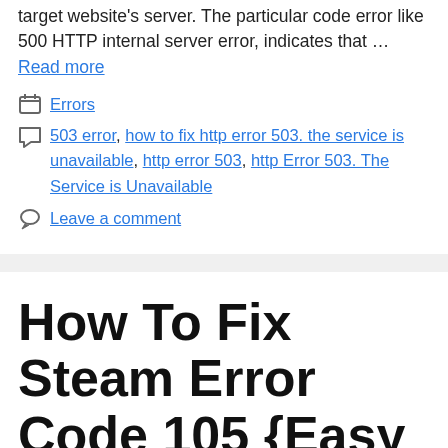target website's server. The particular code error like 500 HTTP internal server error, indicates that … Read more
Errors
503 error, how to fix http error 503. the service is unavailable, http error 503, http Error 503. The Service is Unavailable
Leave a comment
How To Fix Steam Error Code 105 {Easy Fixes}